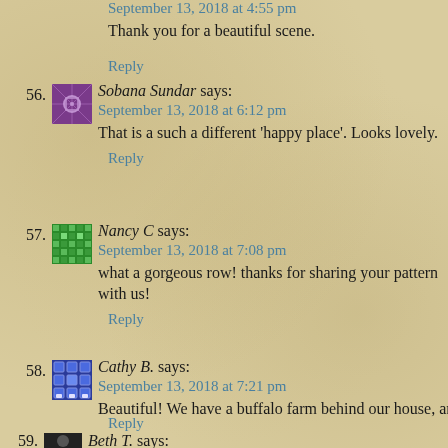September 13, 2018 at 4:55 pm
Thank you for a beautiful scene.
Reply
56. Sobana Sundar says: September 13, 2018 at 6:12 pm. That is a such a different 'happy place'. Looks lovely. Reply
57. Nancy C says: September 13, 2018 at 7:08 pm. what a gorgeous row! thanks for sharing your pattern with us! Reply
58. Cathy B. says: September 13, 2018 at 7:21 pm. Beautiful! We have a buffalo farm behind our house, and I lov Reply
59. Beth T. says: